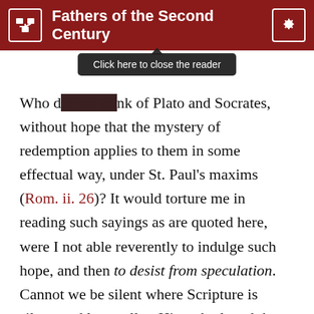Fathers of the Second Century
Click here to close the reader
Who d[id not think] of Plato and Socrates, without hope that the mystery of redemption applies to them in some effectual way, under St. Paul's maxims (Rom. ii. 26)? It would torture me in reading such sayings as are quoted here, were I not able reverently to indulge such hope, and then to desist from speculation. Cannot we be silent where Scripture is silent, and leave all to Him who loved the Gentiles, and died for them on the cross? I suspect the itch of our times, on this and like subjects, to be presumption (2 Cor. x. 5) “against the obedience of Christ.” As if our own